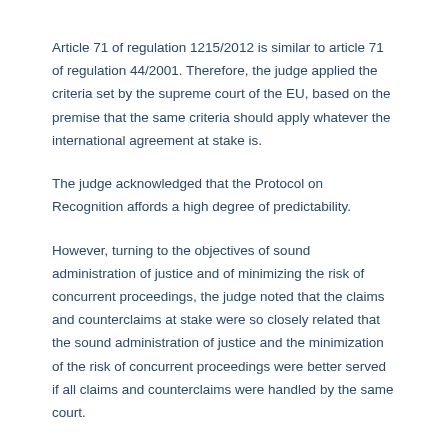Article 71 of regulation 1215/2012 is similar to article 71 of regulation 44/2001. Therefore, the judge applied the criteria set by the supreme court of the EU, based on the premise that the same criteria should apply whatever the international agreement at stake is.
The judge acknowledged that the Protocol on Recognition affords a high degree of predictability.
However, turning to the objectives of sound administration of justice and of minimizing the risk of concurrent proceedings, the judge noted that the claims and counterclaims at stake were so closely related that the sound administration of justice and the minimization of the risk of concurrent proceedings were better served if all claims and counterclaims were handled by the same court.